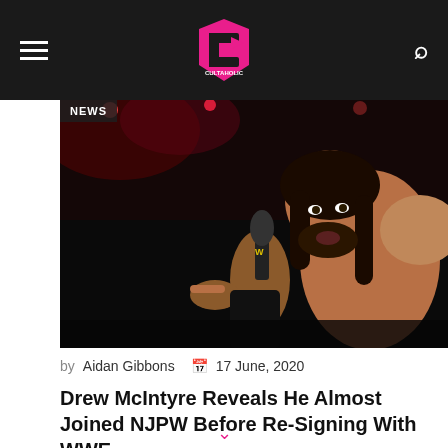Cultaholic
[Figure (photo): Drew McIntyre holding a microphone at a WWE event, wearing black gear, with red lighting in the background]
NEWS
by Aidan Gibbons  17 June, 2020
Drew McIntyre Reveals He Almost Joined NJPW Before Re-Signing With WWE